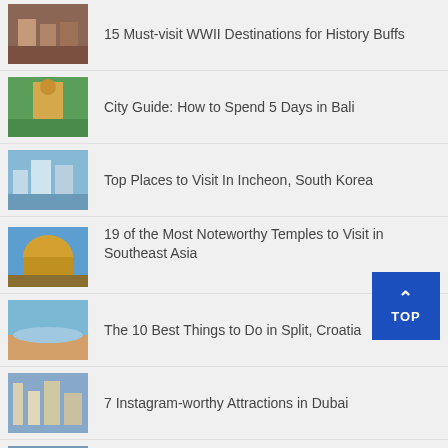15 Must-visit WWII Destinations for History Buffs
City Guide: How to Spend 5 Days in Bali
Top Places to Visit In Incheon, South Korea
19 of the Most Noteworthy Temples to Visit in Southeast Asia
The 10 Best Things to Do in Split, Croatia
7 Instagram-worthy Attractions in Dubai
Dos and Don'ts When Travelling in Abu Dhabi
8 Reasons to Visit Brunei
CATEGORY